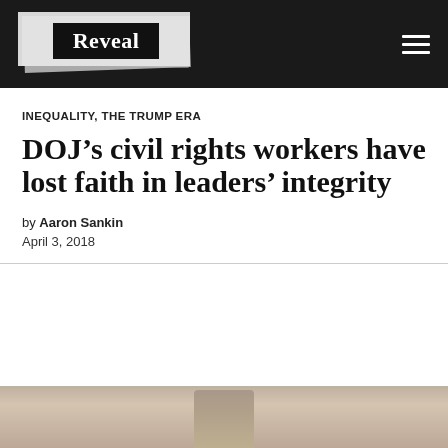Reveal
INEQUALITY, THE TRUMP ERA
DOJ’s civil rights workers have lost faith in leaders’ integrity
by Aaron Sankin
April 3, 2018
[Figure (photo): Partial photo of a person, cropped at bottom of page, with beige/gold background suggesting an official setting]